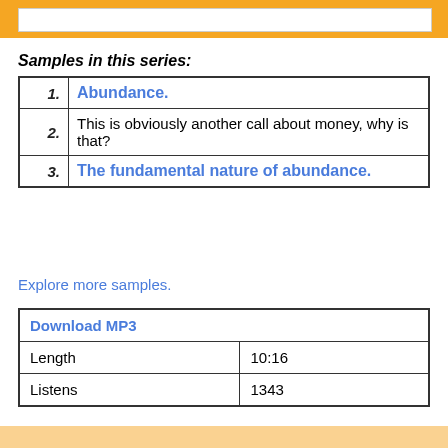Samples in this series:
| 1. | Abundance. |
| 2. | This is obviously another call about money, why is that? |
| 3. | The fundamental nature of abundance. |
Explore more samples.
| Download MP3 |
| --- |
| Length | 10:16 |
| Listens | 1343 |